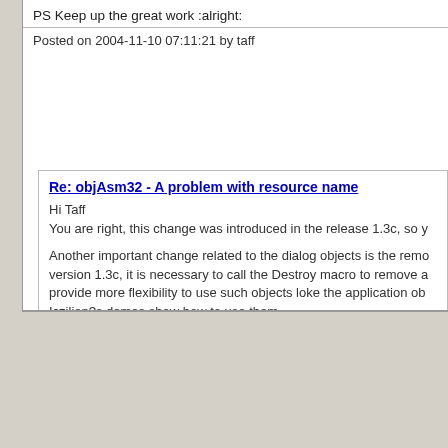PS Keep up the great work :alright:
Posted on 2004-11-10 07:11:21 by taff
Re: objAsm32 - A problem with resource name
Hi Taff
You are right, this change was introduced in the release 1.3c, so y

Another important change related to the dialog objects is the remo version 1.3c, it is necessary to call the Destroy macro to remove a provide more flexibility to use such objects loke the application ob Iczilion?s demos show how to use them.

Regards,
Biterider
Posted on 2005-03-12 08:24:54 by Biterider